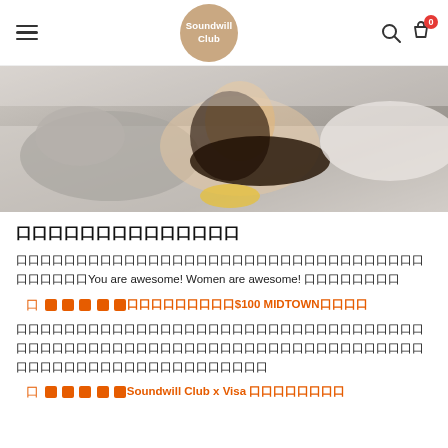Soundwill Club navigation header with hamburger menu, logo, search and bag icons
[Figure (photo): Banner photo of two young Asian women lying down, smiling, one with long black hair wearing yellow top.]
口口口口口口口口口口口口口口
口口口口口口口口口口口口口口口口口口口口口口口口口口口口口口口口口口口口口口口口You are awesome! Women are awesome! 口口口口口口口口
口 口口口口口口口口口口口口口口$100 MIDTOWN口口口口
口口口口口口口口口口口口口口口口口口口口口口口口口口口口口口口口口口口口口口口口口口口口口口口口口口口口口口口口口口口口口口口口口口口口口口口口口口口口口口口口口口口口口口口口口
口 口口口口口Soundwill Club x Visa 口口口口口口口口